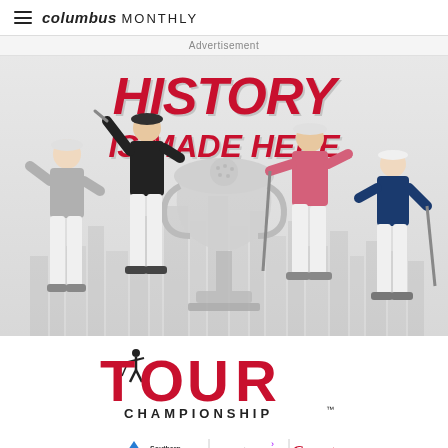columbus MONTHLY
Advertisement
[Figure (photo): Tour Championship advertisement showing four professional golfers posing with a trophy in front of a city skyline. Bold red text reads HISTORY IS MADE HERE at the top.]
[Figure (logo): TOUR CHAMPIONSHIP logo with a golfer silhouette replacing the letter O, and CHAMPIONSHIP text below.]
[Figure (logo): Sponsor logos: Southern Company, accenture, Coca-Cola]
SERIES PRESENTED BY